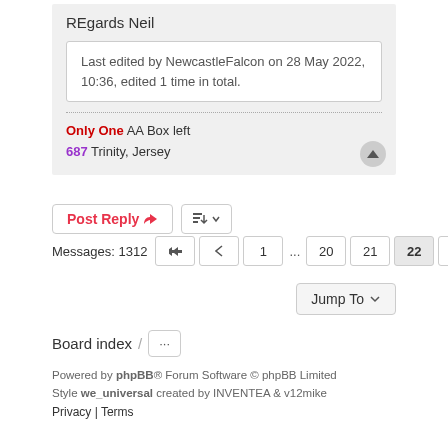REgards Neil
Last edited by NewcastleFalcon on 28 May 2022, 10:36, edited 1 time in total.
Only One AA Box left
687 Trinity, Jersey
Post Reply
Messages: 1312  1 ... 20 21 22 23 24 ... 88
Jump To
Board index /
Powered by phpBB® Forum Software © phpBB Limited
Style we_universal created by INVENTEA & v12mike
Privacy | Terms